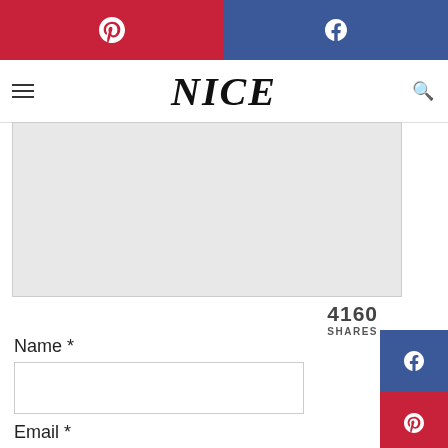[Figure (screenshot): Top social share bar with Pinterest (red, left) and Facebook (blue, right) buttons]
NICE
[Figure (other): Gray content/image placeholder area]
4160
SHARES
Name *
Email *
Save my name, email, and website in this browser for the next time I